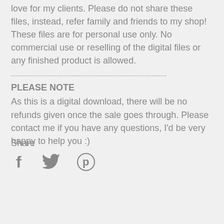love for my clients. Please do not share these files, instead, refer family and friends to my shop! These files are for personal use only. No commercial use or reselling of the digital files or any finished product is allowed.
------------------------------------------------------------------------
PLEASE NOTE
As this is a digital download, there will be no refunds given once the sale goes through. Please contact me if you have any questions, I'd be very happy to help you :)
Share
[Figure (illustration): Social media share icons: Facebook (f), Twitter (bird), Pinterest (p)]